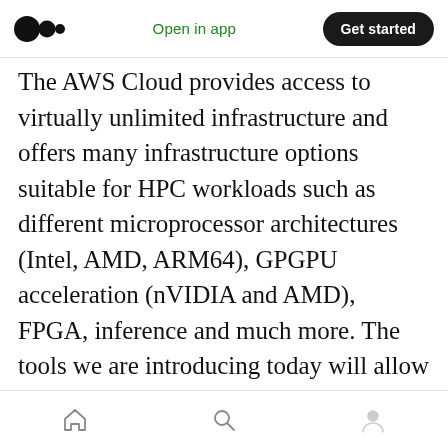Medium app header with logo, Open in app, Get started
The AWS Cloud provides access to virtually unlimited infrastructure and offers many infrastructure options suitable for HPC workloads such as different microprocessor architectures (Intel, AMD, ARM64), GPGPU acceleration (nVIDIA and AMD), FPGA, inference and much more. The tools we are introducing today will allow you to easily configure HPC clusters, customized for your needs and when you need them. In addition, we'll show you how you can make your favorite HPC application available for these environments, allowing you to run workloads such as computational chemistry...
Home | Search | Profile navigation icons